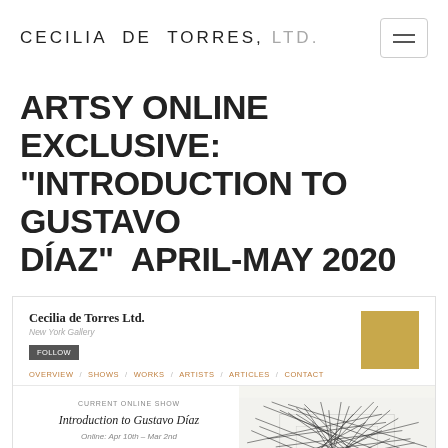CECILIA DE TORRES, LTD.
ARTSY ONLINE EXCLUSIVE: "INTRODUCTION TO GUSTAVO DÍAZ"  APRIL-MAY 2020
[Figure (screenshot): Screenshot of Cecilia de Torres Ltd. gallery website on Artsy showing the 'Introduction to Gustavo Diaz' exhibition listing with navigation links and a preview of the artwork — an abstract drawing with dark chaotic lines on light background — alongside a gold thumbnail image.]